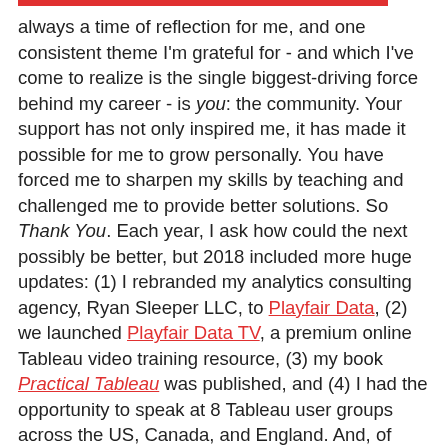always a time of reflection for me, and one consistent theme I'm grateful for - and which I've come to realize is the single biggest-driving force behind my career - is you: the community. Your support has not only inspired me, it has made it possible for me to grow personally. You have forced me to sharpen my skills by teaching and challenged me to provide better solutions. So Thank You. Each year, I ask how could the next possibly be better, but 2018 included more huge updates: (1) I rebranded my analytics consulting agency, Ryan Sleeper LLC, to Playfair Data, (2) we launched Playfair Data TV, a premium online Tableau video training resource, (3) my book Practical Tableau was published, and (4) I had the opportunity to speak at 8 Tableau user groups across the US, Canada, and England. And, of course, I released more content! 41